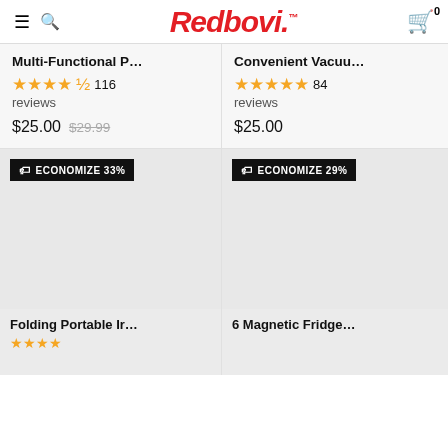Redbovi.
Multi-Functional P...
★★★★½ 116 reviews
$25.00  $29.99
Convenient Vacuu...
★★★★★ 84 reviews
$25.00
ECONOMIZE 33%
Folding Portable Ir...
ECONOMIZE 29%
6 Magnetic Fridge...